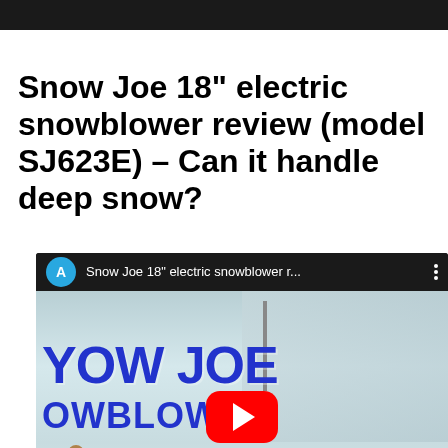[Figure (screenshot): Dark top navigation bar at the top of the page]
Snow Joe 18" electric snowblower review (model SJ623E) – Can it handle deep snow?
[Figure (screenshot): YouTube video embed showing Snow Joe 18" electric snowblower review video with thumbnail of person using snowblower in snowy conditions. Video title shown in top bar: 'Snow Joe 18" electric snowblower r...' with avatar circle 'A'. Thumbnail shows 'SNOW JOE SNOWBLOWER' text in blue, a person in orange jacket, and YouTube play button. Bottom text partially visible: 'DEER SNC']